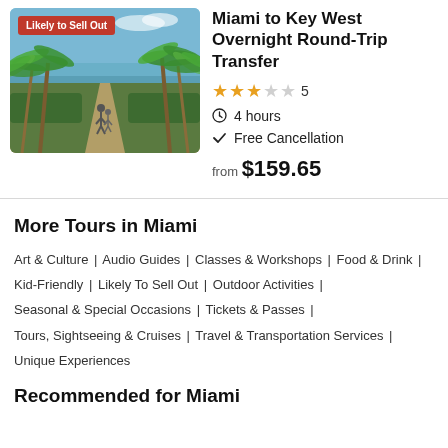[Figure (photo): Tropical beach path flanked by palm trees with two people walking, blue sky, ocean in background]
Miami to Key West Overnight Round-Trip Transfer
★★★☆☆  5
🕐 4 hours
✓ Free Cancellation
from $159.65
More Tours in Miami
Art & Culture | Audio Guides | Classes & Workshops | Food & Drink | Kid-Friendly | Likely To Sell Out | Outdoor Activities | Seasonal & Special Occasions | Tickets & Passes | Tours, Sightseeing & Cruises | Travel & Transportation Services | Unique Experiences
Recommended for Miami